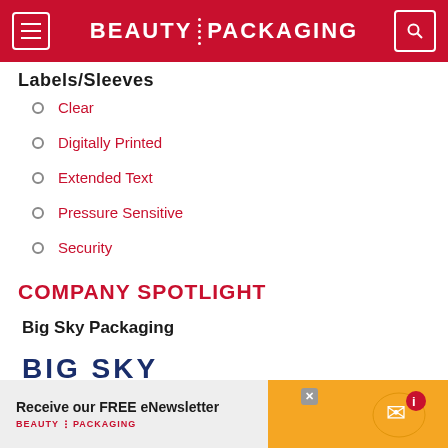BEAUTY PACKAGING
Labels/Sleeves
Clear
Digitally Printed
Extended Text
Pressure Sensitive
Security
COMPANY SPOTLIGHT
Big Sky Packaging
[Figure (logo): Big Sky Packaging logo — bold navy text reading BIG SKY with PACKAGING below, separated by a horizontal line]
[Figure (infographic): Advertisement banner: Receive our FREE eNewsletter, Beauty Packaging logo, envelope/chat icon on gold background]